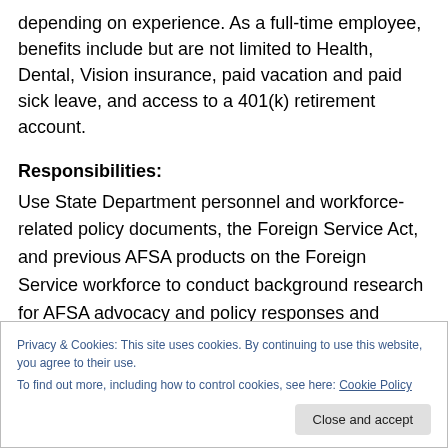depending on experience. As a full-time employee, benefits include but are not limited to Health, Dental, Vision insurance, paid vacation and paid sick leave, and access to a 401(k) retirement account.
Responsibilities:
Use State Department personnel and workforce-related policy documents, the Foreign Service Act, and previous AFSA products on the Foreign Service workforce to conduct background research for AFSA advocacy and policy responses and communications.
Privacy & Cookies: This site uses cookies. By continuing to use this website, you agree to their use.
To find out more, including how to control cookies, see here: Cookie Policy
Close and accept